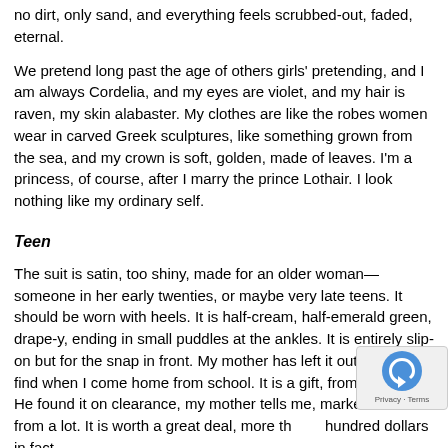no dirt, only sand, and everything feels scrubbed-out, faded, eternal.
We pretend long past the age of others girls' pretending, and I am always Cordelia, and my eyes are violet, and my hair is raven, my skin alabaster. My clothes are like the robes women wear in carved Greek sculptures, like something grown from the sea, and my crown is soft, golden, made of leaves. I'm a princess, of course, after I marry the prince Lothair. I look nothing like my ordinary self.
Teen
The suit is satin, too shiny, made for an older woman—someone in her early twenties, or maybe very late teens. It should be worn with heels. It is half-cream, half-emerald green, drape-y, ending in small puddles at the ankles. It is entirely slip-on but for the snap in front. My mother has left it out for me to find when I come home from school. It is a gift, from my father. He found it on clearance, my mother tells me, marked down from a lot. It is worth a great deal, more than a hundred dollars in fact.
I do not want to wear it, but I cannot tell them that. I am to wear it